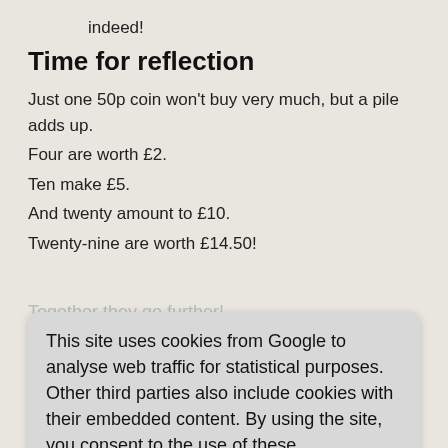indeed!
Time for reflection
Just one 50p coin won't buy very much, but a pile adds up. Four are worth £2.
Ten make £5.
And twenty amount to £10.
Twenty-nine are worth £14.50!
Together they go further!
This site uses cookies from Google to analyse web traffic for statistical purposes. Other third parties also include cookies with their embedded content. By using the site, you consent to the use of these cookies. Learn more
Song/music
'Together' (Song for Everyday Assembly, Out of the Ark Music)
Give it all you've got.